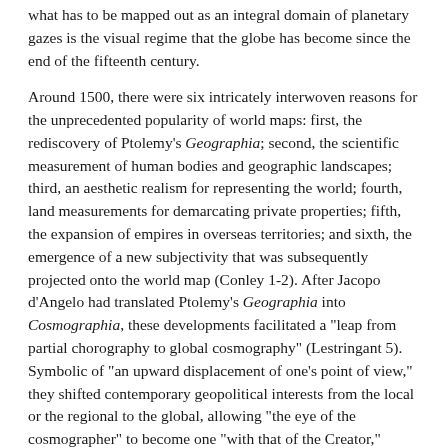what has to be mapped out as an integral domain of planetary gazes is the visual regime that the globe has become since the end of the fifteenth century.
Around 1500, there were six intricately interwoven reasons for the unprecedented popularity of world maps: first, the rediscovery of Ptolemy's Geographia; second, the scientific measurement of human bodies and geographic landscapes; third, an aesthetic realism for representing the world; fourth, land measurements for demarcating private properties; fifth, the expansion of empires in overseas territories; and sixth, the emergence of a new subjectivity that was subsequently projected onto the world map (Conley 1-2). After Jacopo d'Angelo had translated Ptolemy's Geographia into Cosmographia, these developments facilitated a "leap from partial chorography to global cosmography" (Lestringant 5). Symbolic of "an upward displacement of one's point of view," they shifted contemporary geopolitical interests from the local or the regional to the global, allowing "the eye of the cosmographer" to become one "with that of the Creator," celebrating Hellenistic culture as the height of human civilization and transforming European spatial orientation according to divine supervision (Lestringant 5; Levenson 11). Additionally, cosmographic cartographies did not only attract scientists; missionaries made active use of them to venture into non-